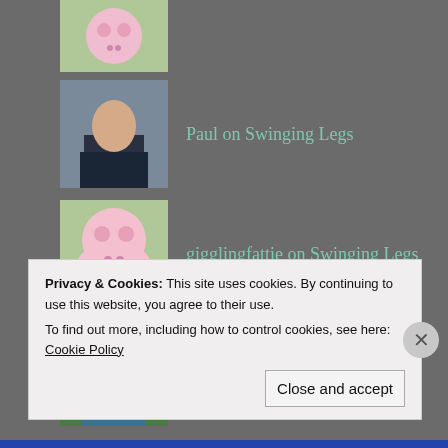Paul on Swinging Legs
gigglingfattie on Swinging Legs
trishsplace on Swinging Legs
Catsandcoffee on Swinging Legs
Privacy & Cookies: This site uses cookies. By continuing to use this website, you agree to their use.
To find out more, including how to control cookies, see here: Cookie Policy
Close and accept